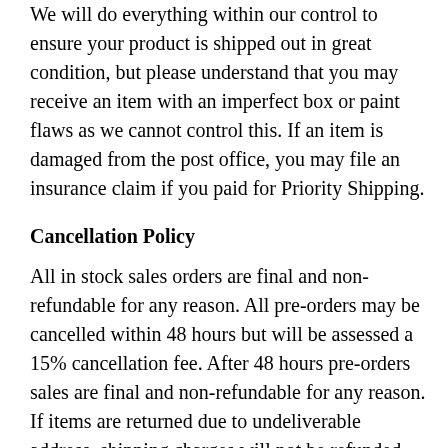We will do everything within our control to ensure your product is shipped out in great condition, but please understand that you may receive an item with an imperfect box or paint flaws as we cannot control this. If an item is damaged from the post office, you may file an insurance claim if you paid for Priority Shipping.
Cancellation Policy
All in stock sales orders are final and non-refundable for any reason. All pre-orders may be cancelled within 48 hours but will be assessed a 15% cancellation fee. After 48 hours pre-orders sales are final and non-refundable for any reason. If items are returned due to undeliverable address, shipping charges will not be refunded and you will be charged a restocking fee of 25% on all items.